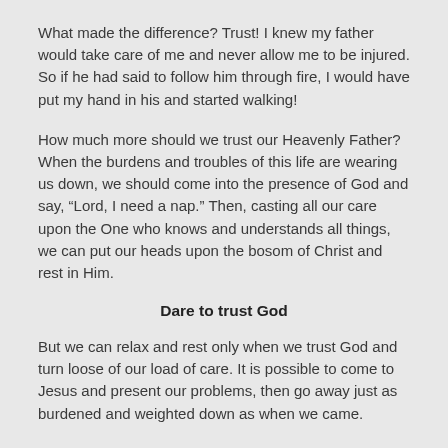What made the difference? Trust! I knew my father would take care of me and never allow me to be injured. So if he had said to follow him through fire, I would have put my hand in his and started walking!
How much more should we trust our Heavenly Father? When the burdens and troubles of this life are wearing us down, we should come into the presence of God and say, “Lord, I need a nap.” Then, casting all our care upon the One who knows and understands all things, we can put our heads upon the bosom of Christ and rest in Him.
Dare to trust God
But we can relax and rest only when we trust God and turn loose of our load of care. It is possible to come to Jesus and present our problems, then go away just as burdened and weighted down as when we came.
We sometimes think we have done enough when we bring our...